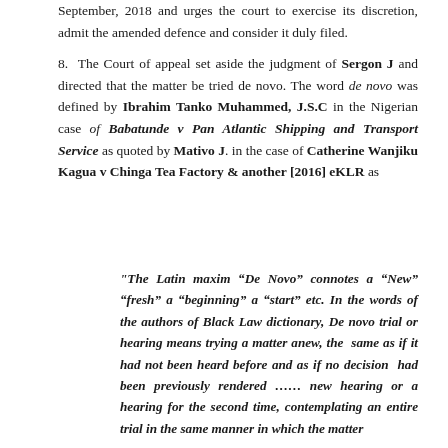September, 2018 and urges the court to exercise its discretion, admit the amended defence and consider it duly filed.
8. The Court of appeal set aside the judgment of Sergon J and directed that the matter be tried de novo. The word de novo was defined by Ibrahim Tanko Muhammed, J.S.C in the Nigerian case of Babatunde v Pan Atlantic Shipping and Transport Service as quoted by Mativo J. in the case of Catherine Wanjiku Kagua v Chinga Tea Factory & another [2016] eKLR as
"The Latin maxim “De Novo” connotes a “New” “fresh” a “beginning” a “start” etc. In the words of the authors of Black Law dictionary, De novo trial or hearing means trying a matter anew, the same as if it had not been heard before and as if no decision had been previously rendered ……. new hearing or a hearing for the second time, contemplating an entire trial in the same manner in which the matter...